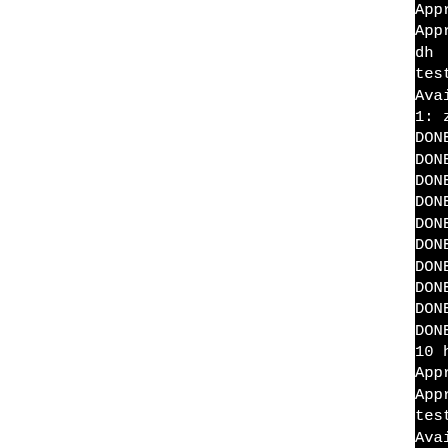[Figure (screenshot): Terminal output showing TLS/SSL handshake test results with monospace white text on black background. Left portion of page is white (cut-off). Right portion shows lines of terminal output including: 'Approximate total server t', 'Approximate total client t', 'dh', 'test tls1 with 1024bit RSA', 'Available compression meth', '1: zlib compression', multiple 'DONE via BIO pair: TLSv1,' lines, '10 handshakes of 256 bytes', 'Approximate total server t', 'Approximate total client t', 'test tls1 with PSK', 'Available compression meth', '1: zlib compression', 'TLSv1, cipher TLSv1/SSLv3', '1 handshakes of 256 bytes']